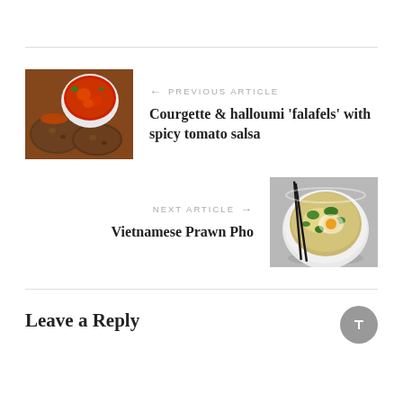[Figure (photo): Food photo: courgette and halloumi falafels with tomato salsa on a wooden board]
PREVIOUS ARTICLE
Courgette & halloumi 'falafels' with spicy tomato salsa
NEXT ARTICLE
Vietnamese Prawn Pho
[Figure (photo): Food photo: Vietnamese prawn pho in a white bowl with chopsticks on a grey surface]
Leave a Reply